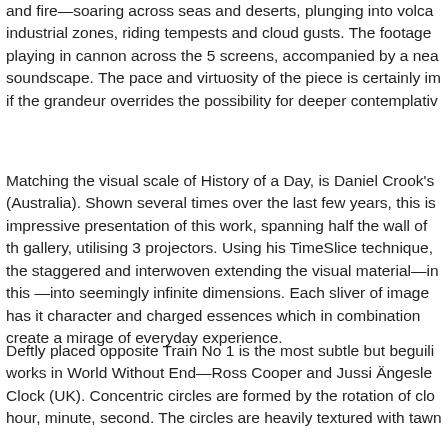and fire—soaring across seas and deserts, plunging into volca industrial zones, riding tempests and cloud gusts. The footage playing in cannon across the 5 screens, accompanied by a nea soundscape. The pace and virtuosity of the piece is certainly im if the grandeur overrides the possibility for deeper contemplative
Matching the visual scale of History of a Day, is Daniel Crook's (Australia). Shown several times over the last few years, this is impressive presentation of this work, spanning half the wall of th gallery, utilising 3 projectors. Using his TimeSlice technique, the staggered and interwoven extending the visual material—in this —into seemingly infinite dimensions. Each sliver of image has it character and charged essences which in combination create a mirage of everyday experience.
Deftly placed opposite Train No 1 is the most subtle but beguili works in World Without End—Ross Cooper and Jussi Ängesle Clock (UK). Concentric circles are formed by the rotation of clo hour, minute, second. The circles are heavily textured with tawn